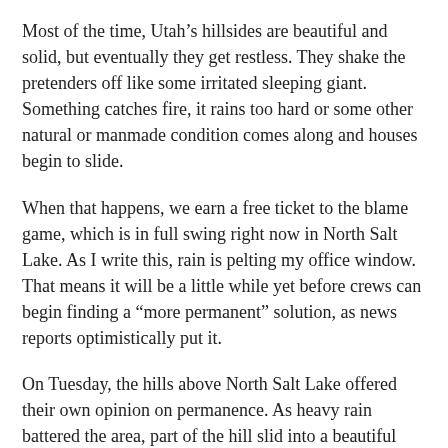Most of the time, Utah's hillsides are beautiful and solid, but eventually they get restless. They shake the pretenders off like some irritated sleeping giant. Something catches fire, it rains too hard or some other natural or manmade condition comes along and houses begin to slide.
When that happens, we earn a free ticket to the blame game, which is in full swing right now in North Salt Lake. As I write this, rain is pelting my office window. That means it will be a little while yet before crews can begin finding a “more permanent” solution, as news reports optimistically put it.
On Tuesday, the hills above North Salt Lake offered their own opinion on permanence. As heavy rain battered the area, part of the hill slid into a beautiful home of recent vintage, crushing it the way some prehistoric reptilian monster might have. Four more houses remain in danger.
The developer said it hired a soils engineer before construction began and received the OK. City officials said they hired engineers and got